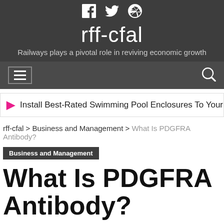rff-cfal
Railways plays a pivotal role in reviving economic growth
Install Best-Rated Swimming Pool Enclosures To Your S
rff-cfal > Business and Management > What Is PDGFRA Antibody?
Business and Management
What Is PDGFRA Antibody?